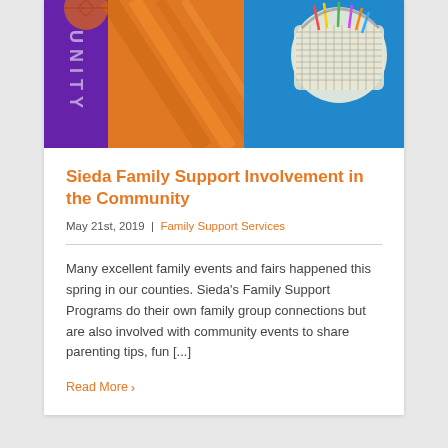[Figure (photo): Colorful community event photo showing purple banner with UNITY text, orange striped items, a blue tablecloth, and a white basket with colorful straws/items]
Sieda Family Support Involvement in the Community
May 21st, 2019  |  Family Support Services
Many excellent family events and fairs happened this spring in our counties. Sieda’s Family Support Programs do their own family group connections but are also involved with community events to share parenting tips, fun [...]
Read More ›